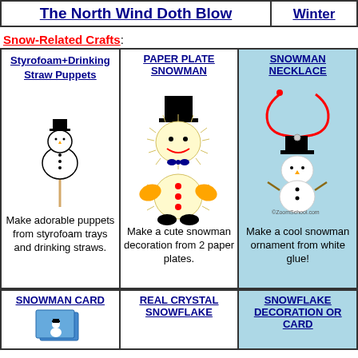The North Wind Doth Blow | Winter
Snow-Related Crafts:
| Styrofoam+Drinking Straw Puppets | PAPER PLATE SNOWMAN | SNOWMAN NECKLACE |
| --- | --- | --- |
| [snowman puppet image] | [paper plate snowman image] | [snowman necklace image] |
| Make adorable puppets from styrofoam trays and drinking straws. | Make a cute snowman decoration from 2 paper plates. | Make a cool snowman ornament from white glue! |
| SNOWMAN CARD | REAL CRYSTAL SNOWFLAKE | SNOWFLAKE DECORATION OR CARD |
| --- | --- | --- |
| [snowman card image] |  |  |